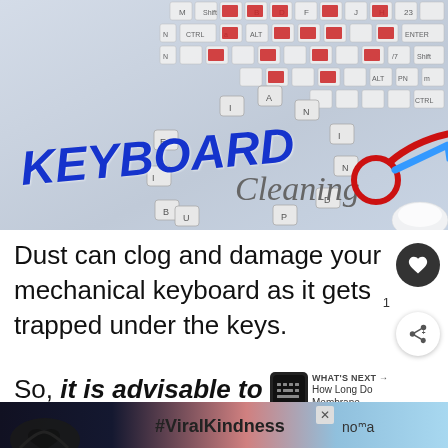[Figure (photo): Keyboard cleaning promotional image showing a mechanical keyboard with keys removed arranged in a circle, bold blue italic text 'KEYBOARD' and cursive 'Cleaning', with a red comet/brush icon and site label techbullish.com]
Dust can clog and damage your mechanical keyboard as it gets trapped under the keys.
So, it is advisable to clean your mechanical keyboard with a brush
[Figure (infographic): WHAT'S NEXT → How Long Do Membrane... sidebar card with keyboard icon]
[Figure (photo): Advertisement bar showing hands in heart shape silhouette with #ViralKindness hashtag]